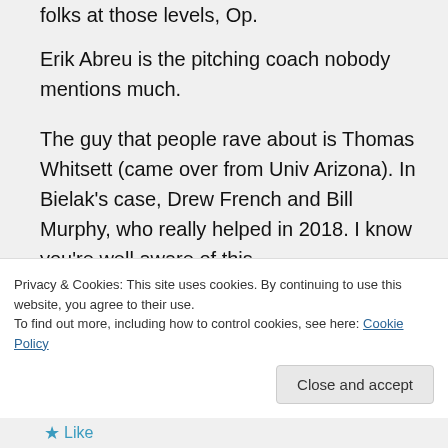folks at those levels, Op.
Erik Abreu is the pitching coach nobody mentions much.
The guy that people rave about is Thomas Whitsett (came over from Univ Arizona). In Bielak's case, Drew French and Bill Murphy, who really helped in 2018. I know you're well aware of this.
Those fans in Fay'ville are going to get another great group next year.
Privacy & Cookies: This site uses cookies. By continuing to use this website, you agree to their use. To find out more, including how to control cookies, see here: Cookie Policy
Close and accept
Like